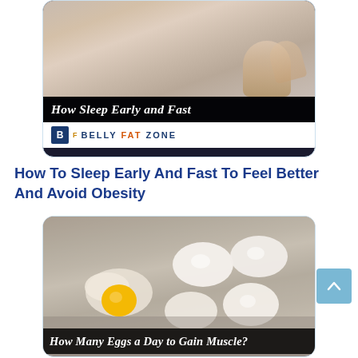[Figure (photo): Thumbnail image card with dark background showing hands/person sleeping at top, italic white text 'How Sleep Early and Fast' on dark banner, and Belly Fat Zone logo on white bar below]
How To Sleep Early And Fast To Feel Better And Avoid Obesity
[Figure (photo): Thumbnail image card showing eggs on a surface – several whole white eggs and one cracked egg with yolk visible – with dark banner at bottom reading 'How Many Eggs a Day to Gain Muscle?']